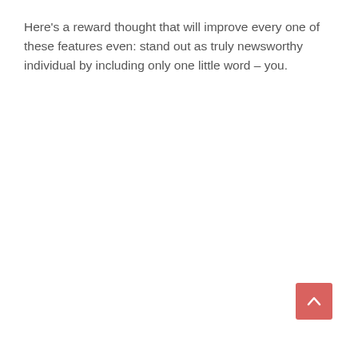Here's a reward thought that will improve every one of these features even: stand out as truly newsworthy individual by including only one little word – you.
[Figure (other): A salmon/red rounded-square button with an upward-pointing chevron arrow, used as a scroll-to-top UI element.]